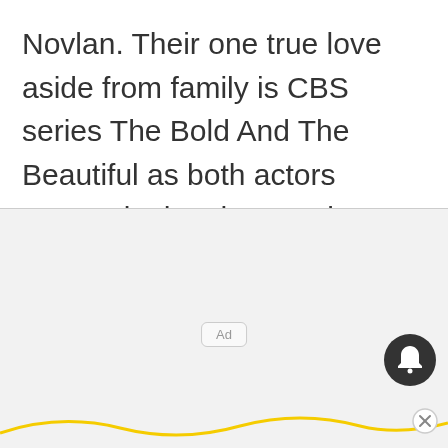Novlan. Their one true love aside from family is CBS series The Bold And The Beautiful as both actors appear in the show and celebrate every milestone.
[Figure (other): Advertisement placeholder area with a light gray background, an 'Ad' label button in the center, a dark circular bell/notification icon on the right, a yellow wavy line along the bottom, and a circular close button at bottom right.]